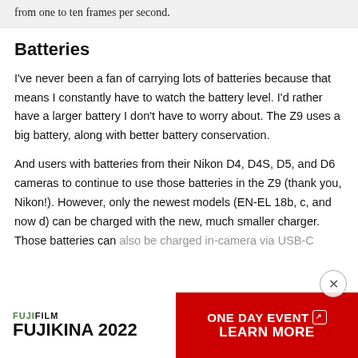from one to ten frames per second.
Batteries
I've never been a fan of carrying lots of batteries because that means I constantly have to watch the battery level. I'd rather have a larger battery I don't have to worry about. The Z9 uses a big battery, along with better battery conservation.
And users with batteries from their Nikon D4, D4S, D5, and D6 cameras to continue to use those batteries in the Z9 (thank you, Nikon!). However, only the newest models (EN-EL 18b, c, and now d) can be charged with the new, much smaller charger. Those batteries can also be charged in-camera via USB-C
[Figure (infographic): Fujifilm Fujikina 2022 One Day Event advertisement banner with red and white color scheme and Learn More call to action]